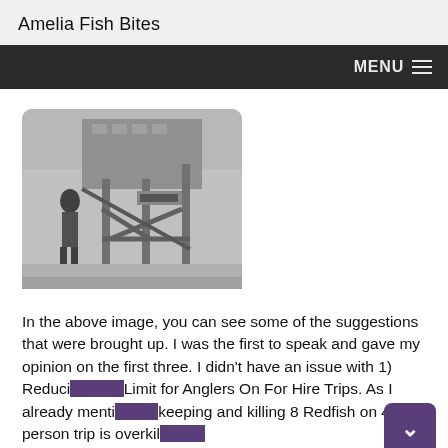Amelia Fish Bites
[Figure (photo): Black and white photograph of a person standing near large industrial or fishing equipment structure, appears to be a dock or processing facility. Photo has rounded corners.]
In the above image, you can see some of the suggestions that were brought up. I was the first to speak and gave my opinion on the first three. I didn't have an issue with 1) Reducing Bag Limit for Anglers On For Hire Trips. As I already mentioned, keeping and killing 8 Redfish on 4 person trip is overkill in my